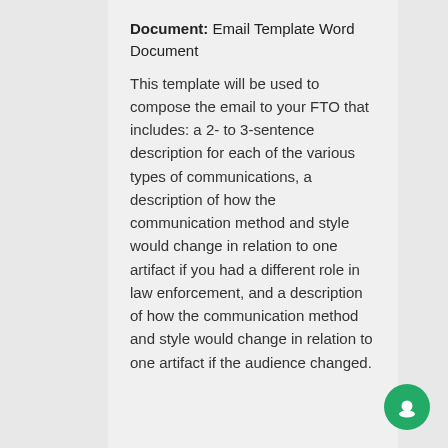Document: Email Template Word Document
This template will be used to compose the email to your FTO that includes: a 2- to 3-sentence description for each of the various types of communications, a description of how the communication method and style would change in relation to one artifact if you had a different role in law enforcement, and a description of how the communication method and style would change in relation to one artifact if the audience changed.